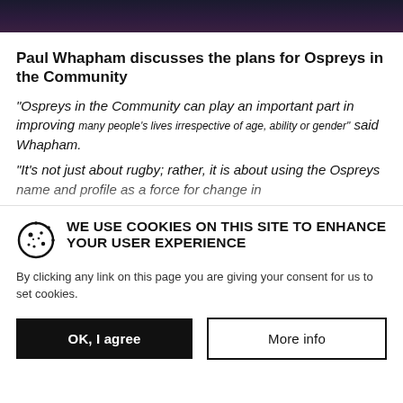[Figure (photo): Dark background image at top of article page, appears to show a dark/blurred scene.]
Paul Whapham discusses the plans for Ospreys in the Community
“Ospreys in the Community can play an important part in improving many people’s lives irrespective of age, ability or gender” said Whapham.
“It’s not just about rugby; rather, it is about using the Ospreys name and profile as a force for change in
WE USE COOKIES ON THIS SITE TO ENHANCE YOUR USER EXPERIENCE
By clicking any link on this page you are giving your consent for us to set cookies.
OK, I agree
More info